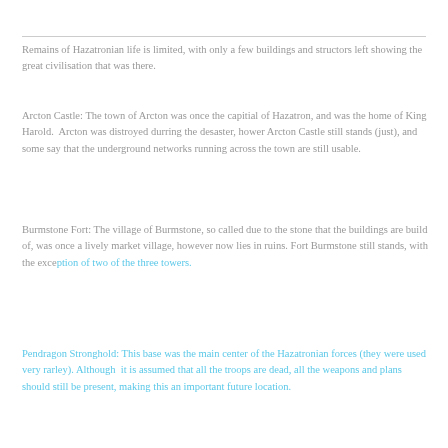Remains of Hazatronian life is limited, with only a few buildings and structors left showing the great civilisation that was there.
Arcton Castle: The town of Arcton was once the capitial of Hazatron, and was the home of King Harold.  Arcton was distroyed durring the desaster, hower Arcton Castle still stands (just), and some say that the underground networks running across the town are still usable.
Burmstone Fort: The village of Burmstone, so called due to the stone that the buildings are build of, was once a lively market village, however now lies in ruins. Fort Burmstone still stands, with the exception of two of the three towers.
Pendragon Stronghold: This base was the main center of the Hazatronian forces (they were used very rarley). Although  it is assumed that all the troops are dead, all the weapons and plans should still be present, making this an important future location.